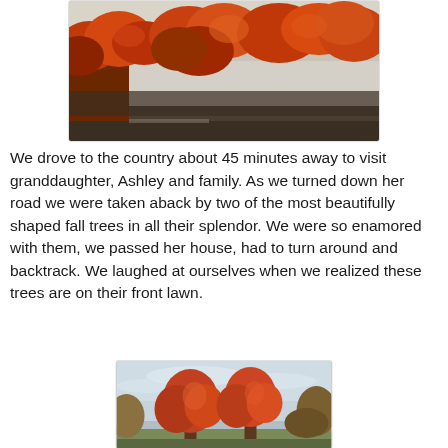[Figure (photo): Autumn foliage photo showing orange and red fall trees along a road, taken from a moving car. Sky is pale/overcast at top.]
We drove to the country about 45 minutes away to visit granddaughter, Ashley and family. As we turned down her road we were taken aback by two of the most beautifully shaped fall trees in all their splendor. We were so enamored with them, we passed her house, had to turn around and backtrack. We laughed at ourselves when we realized these trees are on their front lawn.
[Figure (photo): Photo of two tall autumn trees with orange and red foliage against a pale blue cloudy sky, on a front lawn.]